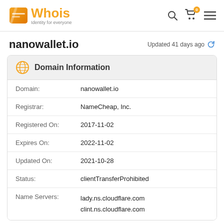Whois — Identity for everyone
nanowallet.io
Updated 41 days ago
| Field | Value |
| --- | --- |
| Domain: | nanowallet.io |
| Registrar: | NameCheap, Inc. |
| Registered On: | 2017-11-02 |
| Expires On: | 2022-11-02 |
| Updated On: | 2021-10-28 |
| Status: | clientTransferProhibited |
| Name Servers: | lady.ns.cloudflare.com
clint.ns.cloudflare.com |